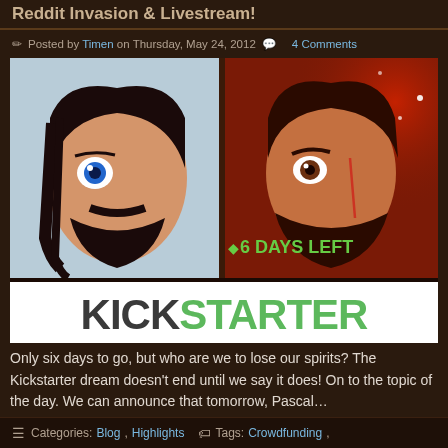Reddit Invasion & Livestream!
Posted by Timen on Thursday, May 24, 2012   4 Comments
[Figure (illustration): Comic book style split-face illustration of two characters on left half with blue eye and dark hair on light blue background, and on right half a bearded warrior on dark red background with '6 DAYS LEFT' text in green, above a Kickstarter logo banner in white with dark and green lettering.]
Only six days to go, but who are we to lose our spirits? The Kickstarter dream doesn't end until we say it does! On to the topic of the day. We can announce that tomorrow, Pascal…
Categories: Blog, Highlights   Tags: Crowdfunding,